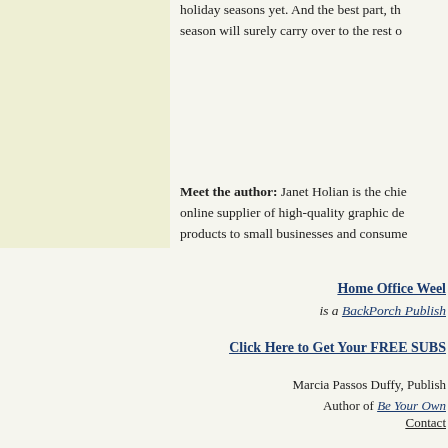[Figure (other): Cream/light yellow rectangular box on upper left portion of page]
holiday seasons yet. And the best part, th season will surely carry over to the rest o
Meet the author: Janet Holian is the chie online supplier of high-quality graphic de products to small businesses and consume
Home Office Weel is a BackPorch Publish
Click Here to Get Your FREE SUBS
Marcia Passos Duffy, Publish Author of Be Your Own
Contact